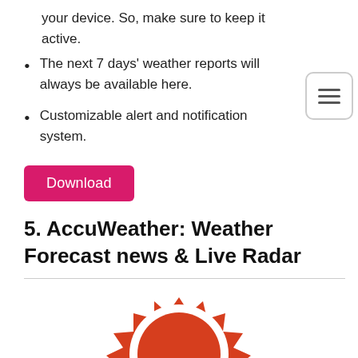your device. So, make sure to keep it active.
The next 7 days' weather reports will always be available here.
Customizable alert and notification system.
Download
5. AccuWeather: Weather Forecast news & Live Radar
[Figure (logo): AccuWeather orange/red sun logo icon, partially visible at bottom of page]